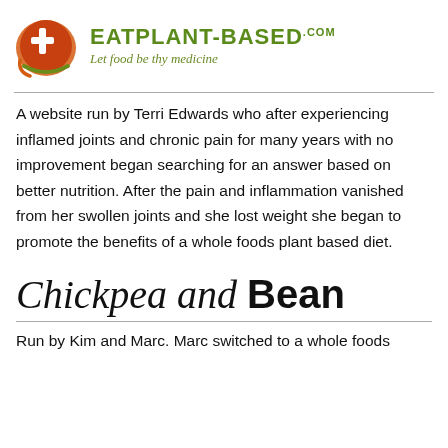[Figure (logo): EatPlant-Based.com logo with circular orange/green icon and tagline 'Let food be thy medicine']
A website run by Terri Edwards who after experiencing inflamed joints and chronic pain for many years with no improvement began searching for an answer based on better nutrition. After the pain and inflammation vanished from her swollen joints and she lost weight she began to promote the benefits of a whole foods plant based diet.
Chickpea and Bean
Run by Kim and Marc. Marc switched to a whole foods